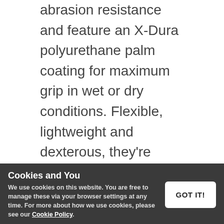abrasion resistance and feature an X-Dura polyurethane palm coating for maximum grip in wet or dry conditions. Flexible, lightweight and dexterous, they're perfect for assembly or general handling.
Performance Ratings
EN 388 (Protection Against Mechanical Risks)
4132
Cookies and You
We use cookies on this website. You are free to manage these via your browser settings at any time. For more about how we use cookies, please see our Cookie Policy.